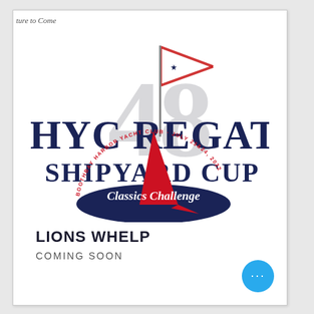ture to Come
[Figure (logo): HYC Regatta 48th Shipyard Cup Classics Challenge logo featuring a sailboat with a red and white cross flag, dark navy hull, red sail, large grey '48' number, and circular text reading 'Boothbay Harbor Yacht Club · July 23 & 24, 2022']
LIONS WHELP
COMING SOON